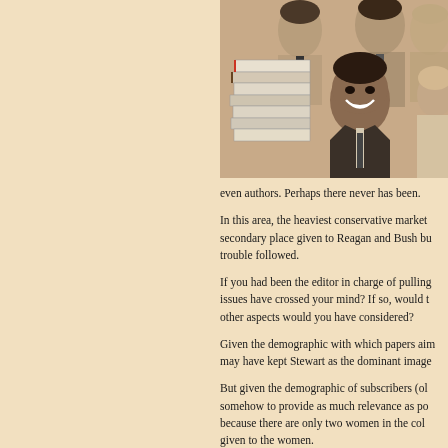[Figure (photo): Group photo showing multiple people including a smiling man in the foreground resembling Barack Obama, with stacks of books visible and other people in the background]
even authors. Perhaps there never has been.
In this area, the heaviest conservative market secondary place given to Reagan and Bush bu trouble followed.
If you had been the editor in charge of pulling issues have crossed your mind? If so, would t other aspects would you have considered?
Given the demographic with which papers aim may have kept Stewart as the dominant image
But given the demographic of subscribers (ol somehow to provide as much relevance as po because there are only two women in the col given to the women.
Whatever. I'm sure those and Lord knows ho think about calling? 817-390-7692